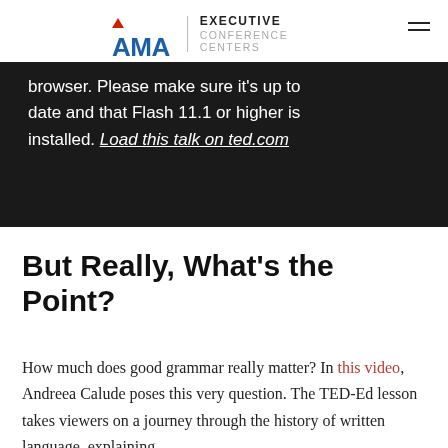AMA EXECUTIVE CONFERENCE CENTERS
[Figure (logo): AMA Executive Conference Centers logo with red triangle, blue AMA text, divider, and gray EXECUTIVE CONFERENCE CENTERS text]
browser. Please make sure it's up to date and that Flash 11.1 or higher is installed. Load this talk on ted.com
But Really, What's the Point?
How much does good grammar really matter? In this video, Andreea Calude poses this very question. The TED-Ed lesson takes viewers on a journey through the history of written language, explaining